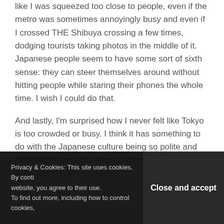like I was squeezed too close to people, even if the metro was sometimes annoyingly busy and even if I crossed THE Shibuya crossing a few times, dodging tourists taking photos in the middle of it. Japanese people seem to have some sort of sixth sense: they can steer themselves around without hitting people while staring their phones the whole time. I wish I could do that.
And lastly, I'm surprised how I never felt like Tokyo is too crowded or busy. I think it has something to do with the Japanese culture being so polite and considerate in public places. They continue to keep everyone on silent mode in
Privacy & Cookies: This site uses cookies. By continuing to use this website, you agree to their use. To find out more, including how to control cookies,
Close and accept